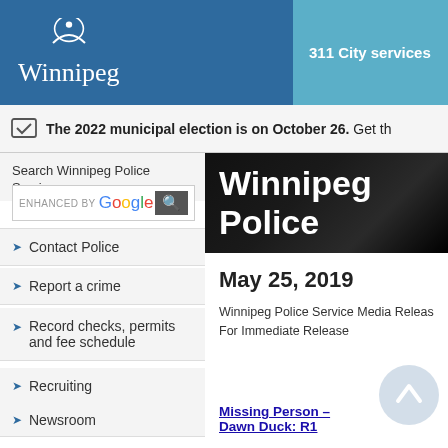[Figure (logo): Winnipeg city logo with crescent moon/arc design and 'Winnipeg' text in white on blue background, with '311 City services' button in light blue]
The 2022 municipal election is on October 26. Get th
Search Winnipeg Police Service:
[Figure (screenshot): Google search box with magnifying glass icon]
Contact Police
Report a crime
Record checks, permits and fee schedule
Recruiting
Newsroom
Major projects
Publications
[Figure (screenshot): Winnipeg Police banner with 'Winnipeg Police' text in white on dark/black background]
May 25, 2019
Winnipeg Police Service Media Releas For Immediate Release
Missing Person – Dawn Duck: R1